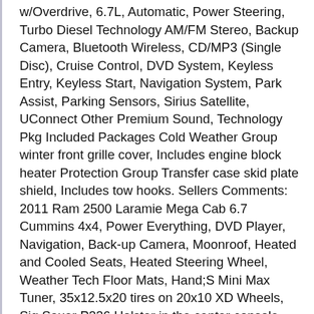w/Overdrive, 6.7L, Automatic, Power Steering, Turbo Diesel Technology AM/FM Stereo, Backup Camera, Bluetooth Wireless, CD/MP3 (Single Disc), Cruise Control, DVD System, Keyless Entry, Keyless Start, Navigation System, Park Assist, Parking Sensors, Sirius Satellite, UConnect Other Premium Sound, Technology Pkg Included Packages Cold Weather Group winter front grille cover, Includes engine block heater Protection Group Transfer case skid plate shield, Includes tow hooks. Sellers Comments: 2011 Ram 2500 Laramie Mega Cab 6.7 Cummins 4x4, Power Everything, DVD Player, Navigation, Back-up Camera, Moonroof, Heated and Cooled Seats, Heated Steering Wheel, Weather Tech Floor Mats, Hand;S Mini Max Tuner, 35x12.5x20 tires on 20x10 XD Wheels, Sig Sauer P226 Holster in the center console. I've had her since 2017 and she's been on many families' road trips to Florida and Colorado. I run the Tuner on level 2 timing (can go up to 5) and Street level 3 performance (can go up to 4), I find that gives me the best fuel mileage as I'm averaging 22 mpg on the highway. The wheels and floor mats I bought less than a week after I got the truck in 2017, there is no lift kit on it and the 35x12.5-inch tires fit well with-it stock. I'm selling her because I